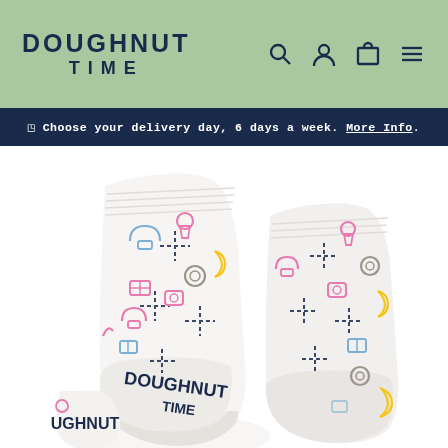DOUGHNUT TIME — navigation header with logo and icons (search, account, cart, menu)
Choose your delivery day, 6 days a week. More Info.
[Figure (photo): Two white Doughnut Time branded socks with colorful doughnut and food icons pattern and dark navy dashed crosshatch pattern, displayed on white background]